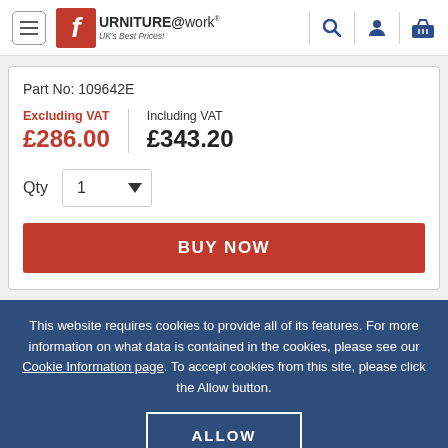Furniture@work - UK's Best Prices!
Part No: 109642E
Excluding VAT £286.00 | Including VAT £343.20
Qty 1
BUY NOW
This website requires cookies to provide all of its features. For more information on what data is contained in the cookies, please see our Cookie Information page. To accept cookies from this site, please click the Allow button.
ALLOW